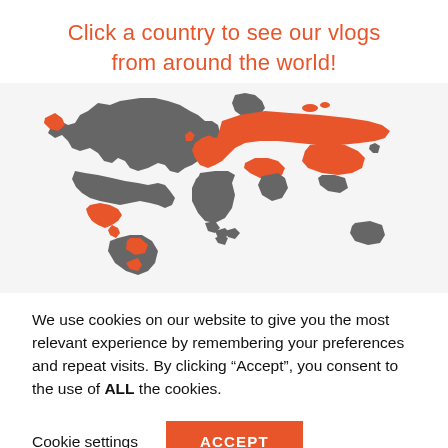Click a country to see our vlogs from around the world!
[Figure (map): World map with some countries highlighted in orange and others in grey, for an interactive vlog website. Countries highlighted in orange include Russia, parts of Europe, Mexico/Central America area, and parts of Asia. North America, Canada, and most of Africa/South America are grey.]
We use cookies on our website to give you the most relevant experience by remembering your preferences and repeat visits. By clicking “Accept”, you consent to the use of ALL the cookies.
Cookie settings   ACCEPT